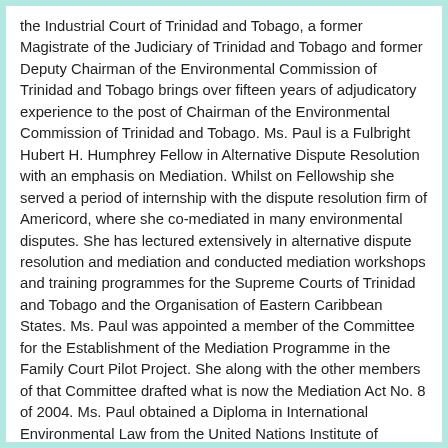the Industrial Court of Trinidad and Tobago, a former Magistrate of the Judiciary of Trinidad and Tobago and former Deputy Chairman of the Environmental Commission of Trinidad and Tobago brings over fifteen years of adjudicatory experience to the post of Chairman of the Environmental Commission of Trinidad and Tobago. Ms. Paul is a Fulbright Hubert H. Humphrey Fellow in Alternative Dispute Resolution with an emphasis on Mediation. Whilst on Fellowship she served a period of internship with the dispute resolution firm of Americord, where she co-mediated in many environmental disputes. She has lectured extensively in alternative dispute resolution and mediation and conducted mediation workshops and training programmes for the Supreme Courts of Trinidad and Tobago and the Organisation of Eastern Caribbean States. Ms. Paul was appointed a member of the Committee for the Establishment of the Mediation Programme in the Family Court Pilot Project. She along with the other members of that Committee drafted what is now the Mediation Act No. 8 of 2004. Ms. Paul obtained a Diploma in International Environmental Law from the United Nations Institute of Training and Research, and holds a Masters of Laws Degree from the University of London (UK) and a Bachelor of Laws (Honours) Degree from the University of the West Indies. Ms. Paul was admitted to practice to the Supreme Court of Judicature of Trinidad and Tobago in 1982.
Ms. Paul was appointed by His Excellency the President of the Republic of Trinidad and Tobago to serve as a member of the